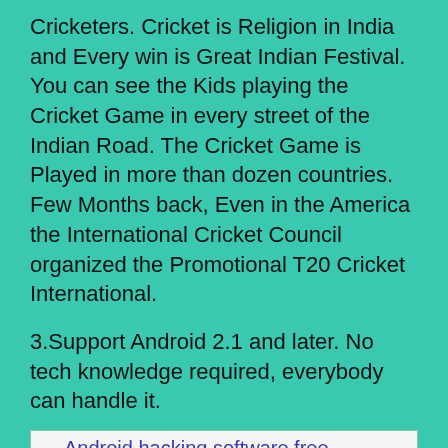Cricketers. Cricket is Religion in India and Every win is Great Indian Festival. You can see the Kids playing the Cricket Game in every street of the Indian Road. The Cricket Game is Played in more than dozen countries. Few Months back, Even in the America the International Cricket Council organized the Promotional T20 Cricket International.
3.Support Android 2.1 and later. No tech knowledge required, everybody can handle it.
[Figure (other): Broken image icon followed by link text 'Android hacking software free download' inside a bordered box]
If you are Cricket Game Lover and want to Play this game in indoor, Play it via Android Smartphone. In Google Play Store, You can get the Many Android Cricket games to download. But, There are only few best Cricket Games are available to Play in Android Mobile. That's Why, We are at Spicytricks, hand-picked